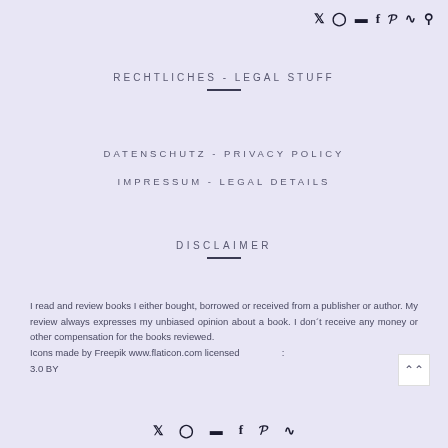Social media icons: Twitter, Instagram, Blog, Facebook, Pinterest, RSS, Search
RECHTLICHES - LEGAL STUFF
DATENSCHUTZ - PRIVACY POLICY
IMPRESSUM - LEGAL DETAILS
DISCLAIMER
I read and review books I either bought, borrowed or received from a publisher or author. My review always expresses my unbiased opinion about a book. I don´t receive any money or other compensation for the books reviewed.
Icons made by Freepik www.flaticon.com licensed 3.0 BY
Social media icons: Twitter, Instagram, Blog, Facebook, Pinterest, RSS